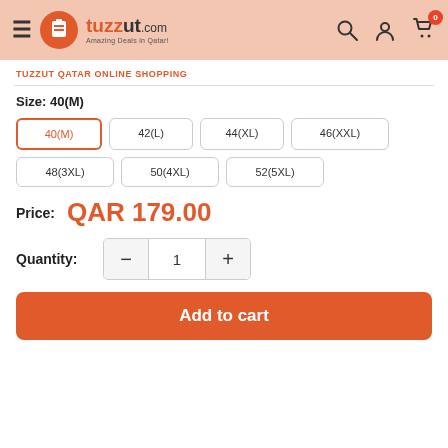tuzzut.com Amazing Deals in Qatar!
TUZZUT QATAR ONLINE SHOPPING
Size: 40(M)
40(M) [selected], 42(L), 44(XL), 46(XXL), 48(3XL), 50(4XL), 52(5XL)
Price: QAR 179.00
Quantity: 1
Add to cart